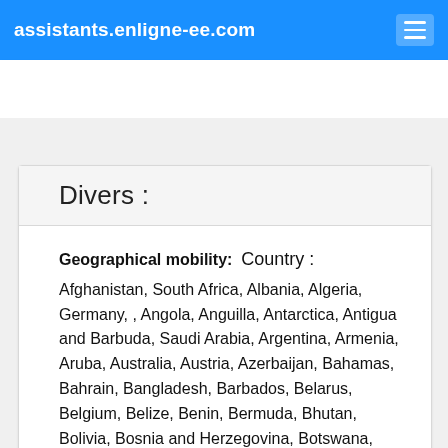assistants.enligne-ee.com
Divers :
Geographical mobility:  Country :
Afghanistan, South Africa, Albania, Algeria, Germany, , Angola, Anguilla, Antarctica, Antigua and Barbuda, Saudi Arabia, Argentina, Armenia, Aruba, Australia, Austria, Azerbaijan, Bahamas, Bahrain, Bangladesh, Barbados, Belarus, Belgium, Belize, Benin, Bermuda, Bhutan, Bolivia, Bosnia and Herzegovina, Botswana, Bouvot Island, British Indian Ocean Terr